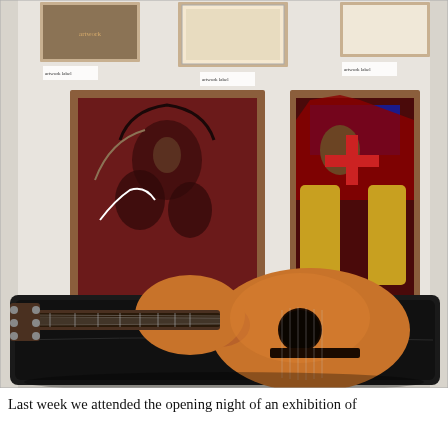[Figure (photo): A photograph taken inside an art gallery. On the white wall hang several framed artworks with dark, colorful abstract imagery in wooden frames. In the foreground, a classical acoustic guitar rests on its open black case on the floor, with its headstock pointing left and body to the right.]
Last week we attended the opening night of an exhibition of